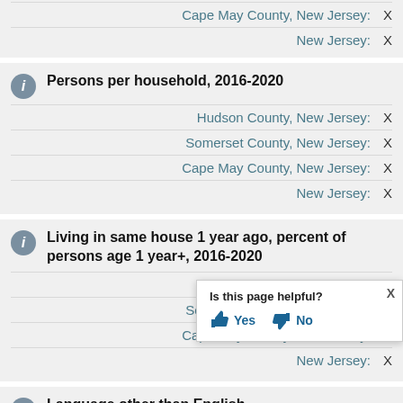Cape May County, New Jersey: X
New Jersey: X
Persons per household, 2016-2020
Hudson County, New Jersey: X
Somerset County, New Jersey: X
Cape May County, New Jersey: X
New Jersey: X
Living in same house 1 year ago, percent of persons age 1 year+, 2016-2020
Hudson County, New Jersey: X
Somerset County, New Jersey: X
Cape May County, New Jersey: X
New Jersey: X
Language other than English percent of persons age 5 year
Is this page helpful? Yes No